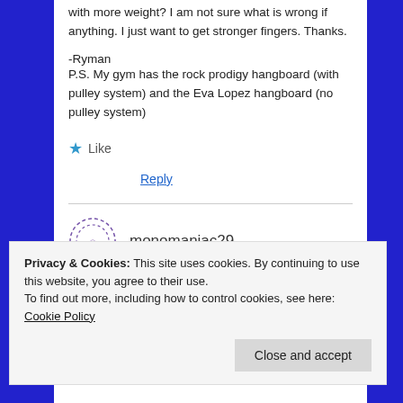with more weight? I am not sure what is wrong if anything. I just want to get stronger fingers. Thanks.
-Ryman
P.S. My gym has the rock prodigy hangboard (with pulley system) and the Eva Lopez hangboard (no pulley system)
Like
Reply
monomaniac29
Privacy & Cookies: This site uses cookies. By continuing to use this website, you agree to their use.
To find out more, including how to control cookies, see here: Cookie Policy
Close and accept